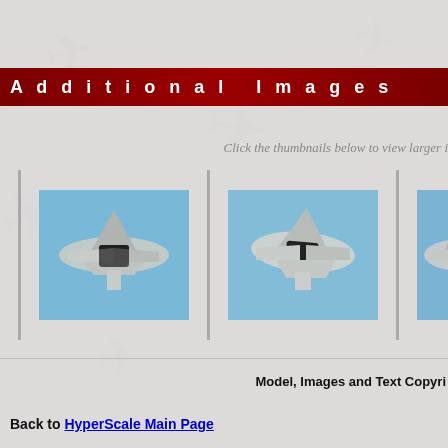Additional Images
Click the thumbnails below to view larger i…
[Figure (photo): Three thumbnail photos of military jet aircraft (F/A-18 Hornet) in flight against blue sky, shown from below/side angles]
Model, Images and Text Copyri…
Back to HyperScale Main Page